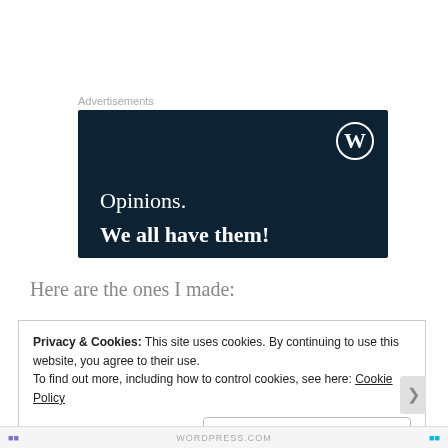Advertisements
[Figure (screenshot): WordPress advertisement banner with dark navy background. Shows WordPress logo (W in circle) top right. Text reads 'Opinions. We all have them!' in white serif font.]
Here are the ones I made:
Privacy & Cookies: This site uses cookies. By continuing to use this website, you agree to their use.
To find out more, including how to control cookies, see here: Cookie Policy
Close and accept